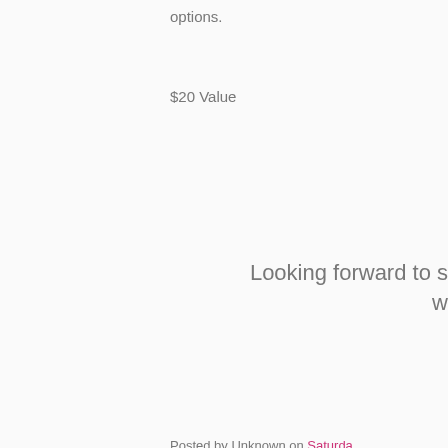options.
$20 Value
Looking forward to s w
Posted by Unknown on Saturday
[Figure (other): Social share icons row: Gmail, Blogger, Twitter, Facebook, Pinterest]